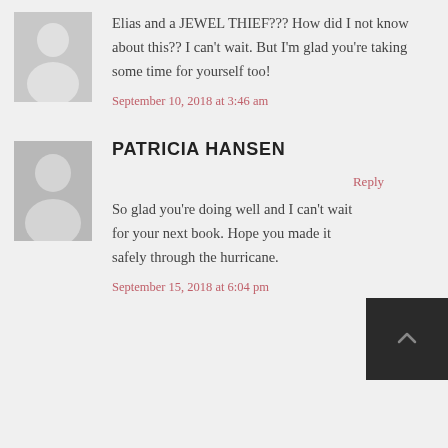Elias and a JEWEL THIEF??? How did I not know about this?? I can’t wait. But I’m glad you’re taking some time for yourself too!
September 10, 2018 at 3:46 am
PATRICIA HANSEN
Reply
So glad you’re doing well and I can’t wait for your next book. Hope you made it safely through the hurricane.
September 15, 2018 at 6:04 pm